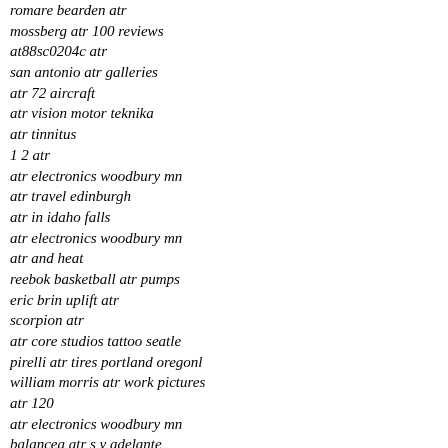romare bearden atr
mossberg atr 100 reviews
at88sc0204c atr
san antonio atr galleries
atr 72 aircraft
atr vision motor teknika
atr tinnitus
1 2 atr
atr electronics woodbury mn
atr travel edinburgh
atr in idaho falls
atr electronics woodbury mn
atr and heat
reebok basketball atr pumps
eric brin uplift atr
scorpion atr
atr core studios tattoo seatle
pirelli atr tires portland oregonl
william morris atr work pictures
atr 120
atr electronics woodbury mn
balancea atr s y adelante
met atr
atr property management memphis
cable ties by atr